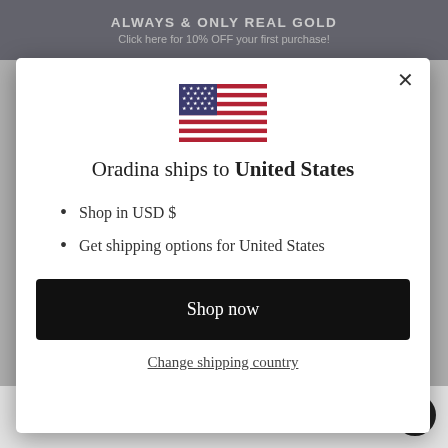ALWAYS & ONLY REAL GOLD
Click here for 10% OFF your first purchase!
[Figure (illustration): US flag icon]
Oradina ships to United States
Shop in USD $
Get shipping options for United States
Shop now
Change shipping country
Responsible Sourcing